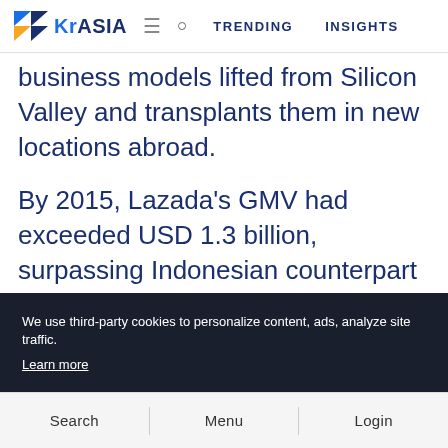KrASIA   =   🔍   TRENDING   INSIGHTS
business models lifted from Silicon Valley and transplants them in new locations abroad.
By 2015, Lazada's GMV had exceeded USD 1.3 billion, surpassing Indonesian counterpart Tokopedia to become the region's leading e-commerce platform. Not long after, in April 2016, Alibaba
We use third-party cookies to personalize content, ads, analyze site traffic. Learn more
Search   Menu   Login